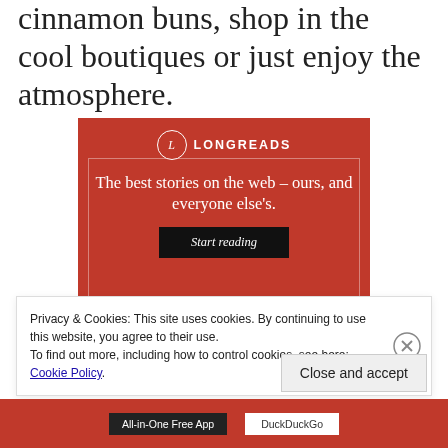cinnamon buns, shop in the cool boutiques or just enjoy the atmosphere.
[Figure (other): Longreads advertisement banner with red background. Shows the Longreads logo (circle with 'L' and 'LONGREADS' text), tagline 'The best stories on the web – ours, and everyone else's.' and a dark 'Start reading' button.]
Privacy & Cookies: This site uses cookies. By continuing to use this website, you agree to their use.
To find out more, including how to control cookies, see here: Cookie Policy
Close and accept